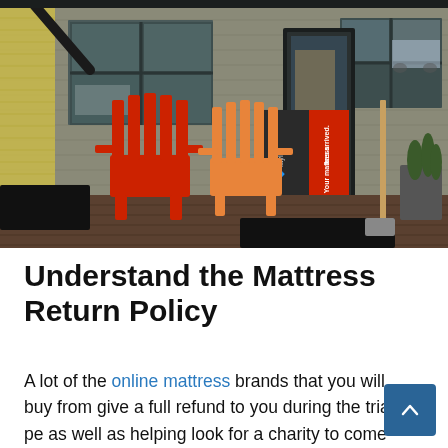[Figure (photo): Exterior photo of a small building with gray horizontal siding and black-trimmed windows. On the front deck are two red Adirondack chairs and a large red-and-dark-gray Layla mattress branded box with text 'Your mattress has arrived.' A snow shovel leans against the wall near a plant container.]
Understand the Mattress Return Policy
A lot of the online mattress brands that you will buy from give a full refund to you during the trial pe... as well as helping look for a charity to come take the